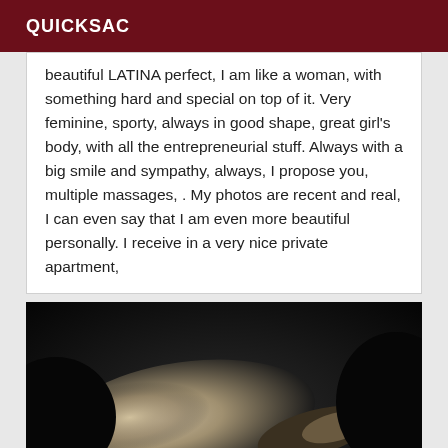QUICKSAC
beautiful LATINA perfect, I am like a woman, with something hard and special on top of it. Very feminine, sporty, always in good shape, great girl's body, with all the entrepreneurial stuff. Always with a big smile and sympathy, always, I propose you, multiple massages, . My photos are recent and real, I can even say that I am even more beautiful personally. I receive in a very nice private apartment,
[Figure (photo): Black and white artistic photo of a person's torso lying down, shown from the back/side, dark background with dramatic lighting.]